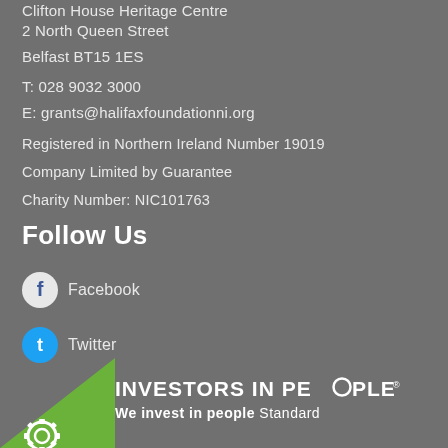Clifton House Heritage Centre
2 North Queen Street
Belfast BT15 1ES
T: 028 9032 3000
E: grants@halifaxfoundationni.org
Registered in Northern Ireland Number 19019
Company Limited by Guarantee
Charity Number: NIC101763
Follow Us
Facebook
Twitter
[Figure (logo): Investors in People logo with green triangle badge and text: INVESTORS IN PEOPLE, We invest in people Standard]